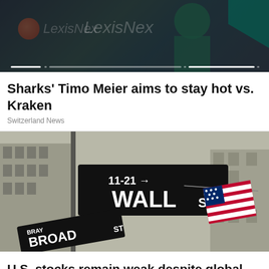[Figure (photo): LexisNexis banner with logo and person in background, with progress bar dots at bottom]
Sharks' Timo Meier aims to stay hot vs. Kraken
Switzerland News
[Figure (photo): Wall Street and Broad Street signs intersection with American flag and buildings in background]
U.S. stocks remain weak despite global markets